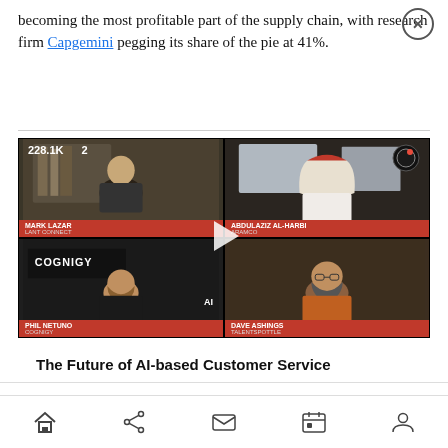becoming the most profitable part of the supply chain, with research firm Capgemini pegging its share of the pie at 41%.
[Figure (screenshot): Video thumbnail showing a panel discussion with 4 participants in a 2x2 grid layout. Stats show 228.1K views and 2 comments. Bottom-left participant is in front of a Cognigy branded background. Footer shows 'Transform 2023' and '#FTETransform' hashtag. A play button is in the center.]
The Future of AI-based Customer Service